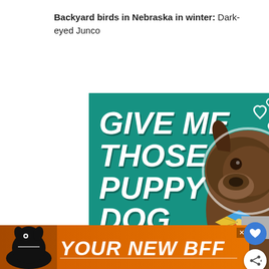Backyard birds in Nebraska in winter: Dark-eyed Junco
[Figure (screenshot): Advertisement with teal background showing a brindle dog wearing a colorful bow tie. Bold italic white text reads 'GIVE ME THOSE PUPPY DOG EYES' with heart outlines in the upper right. An X close button is in the top right corner.]
[Figure (screenshot): Orange banner advertisement showing a black dog silhouette on the left and bold italic white text reading 'YOUR NEW BFF' with an X close button in the upper right.]